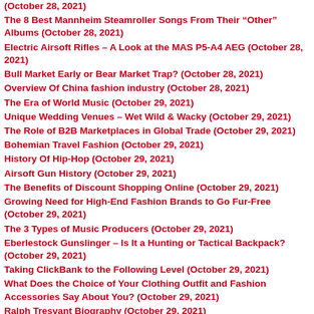(October 28, 2021)
The 8 Best Mannheim Steamroller Songs From Their “Other” Albums (October 28, 2021)
Electric Airsoft Rifles – A Look at the MAS P5-A4 AEG (October 28, 2021)
Bull Market Early or Bear Market Trap? (October 28, 2021)
Overview Of China fashion industry (October 28, 2021)
The Era of World Music (October 29, 2021)
Unique Wedding Venues – Wet Wild & Wacky (October 29, 2021)
The Role of B2B Marketplaces in Global Trade (October 29, 2021)
Bohemian Travel Fashion (October 29, 2021)
History Of Hip-Hop (October 29, 2021)
Airsoft Gun History (October 29, 2021)
The Benefits of Discount Shopping Online (October 29, 2021)
Growing Need for High-End Fashion Brands to Go Fur-Free (October 29, 2021)
The 3 Types of Music Producers (October 29, 2021)
Eberlestock Gunslinger – Is It a Hunting or Tactical Backpack? (October 29, 2021)
Taking ClickBank to the Following Level (October 29, 2021)
What Does the Choice of Your Clothing Outfit and Fashion Accessories Say About You? (October 29, 2021)
Ralph Tresvant Biography (October 29, 2021)
How About a Ratchet Spinner for Your Racquetball Racket – A New